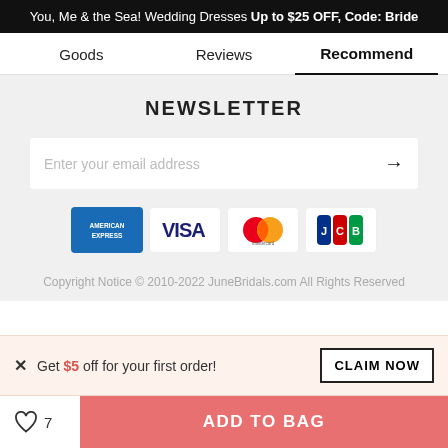You, Me & the Sea! Wedding Dresses Up to $25 OFF, Code: Bride
Goods   Reviews   Recommend
NEWSLETTER
Enter your email address →
[Figure (logo): Payment icons: American Express, Visa, Mastercard, JCB]
Copyright Notice © 2010-2022 JuneBridals.com All Rights Reserved
Get $5 off for your first order!
CLAIM NOW
ADD TO BAG